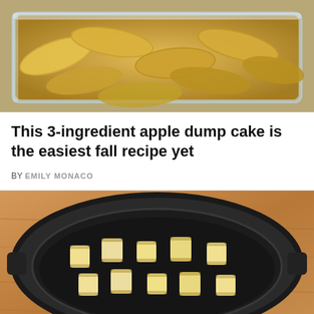[Figure (photo): Overhead view of sliced apples in a glass baking dish with golden syrup]
This 3-ingredient apple dump cake is the easiest fall recipe yet
BY EMILY MONACO
[Figure (photo): Black slow cooker on a wooden surface containing peeled banana chunks arranged in the bottom]
© Cooktop Cove   About Ads   Terms   Privacy   Do Not Sell My Info